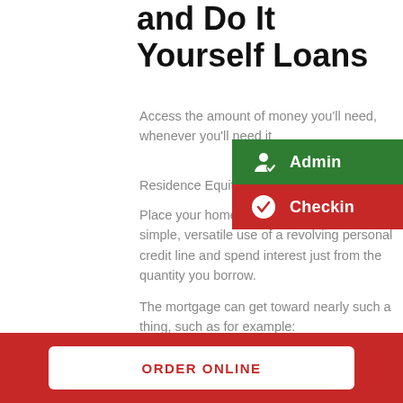and Do It Yourself Loans
Access the amount of money you'll need, whenever you'll need it
Residence Equity Credit Line
Place your home's equity to o... and gain simple, versatile use of a revolving personal credit line and spend interest just from the quantity you borrow.
The mortgage can get toward nearly such a thing, such as for example:
ORDER ONLINE